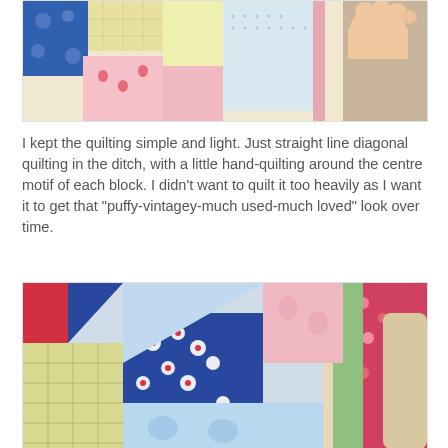[Figure (photo): Close-up photo of a colorful patchwork quilt with pink, blue, yellow, and floral fabric patterns; a bare foot visible in the upper right corner on carpet]
I kept the quilting simple and light. Just straight line diagonal quilting in the ditch, with a little hand-quilting around the centre motif of each block. I didn't want to quilt it too heavily as I want it to get that "puffy-vintagey-much used-much loved" look over time.
[Figure (photo): Close-up photo of a colorful vintage-style patchwork quilt showing pinwheel/star block pattern with blue floral, pink bunny print, red, yellow checked, and floral fabrics; a wicker basket edge and stuffed toy visible at right]